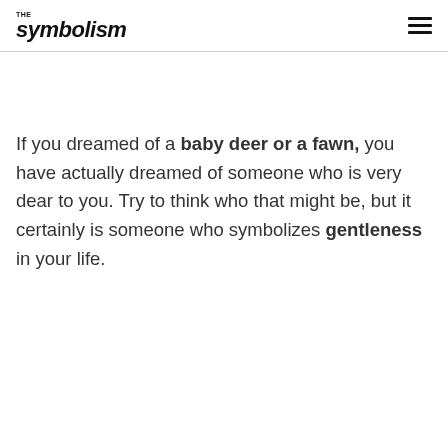THE symbolism
If you dreamed of a baby deer or a fawn, you have actually dreamed of someone who is very dear to you. Try to think who that might be, but it certainly is someone who symbolizes gentleness in your life.